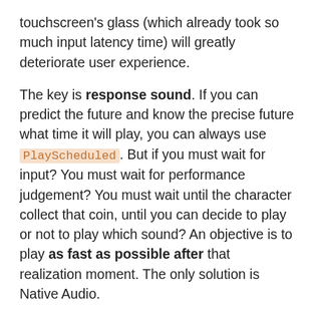touchscreen's glass (which already took so much input latency time) will greatly deteriorate user experience.
The key is response sound. If you can predict the future and know the precise future what time it will play, you can always use PlayScheduled. But if you must wait for input? You must wait for performance judgement? You must wait until the character collect that coin, until you can decide to play or not to play which sound? An objective is to play as fast as possible after that realization moment. The only solution is Native Audio.
Android high-performance audio ready
It is a new update of iOS, that is the ...